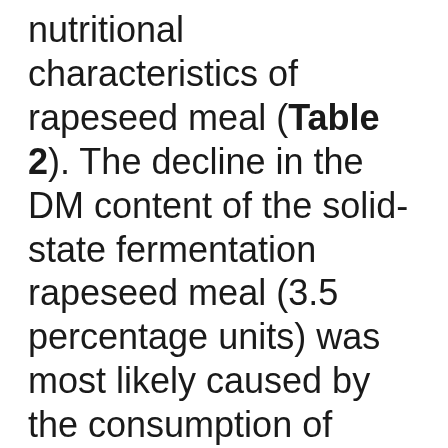nutritional characteristics of rapeseed meal (Table 2). The decline in the DM content of the solid-state fermentation rapeseed meal (3.5 percentage units) was most likely caused by the consumption of carbohydrate by aerobic bacteria. The CP and crude fat concentration increased slightly (2.5 percentage